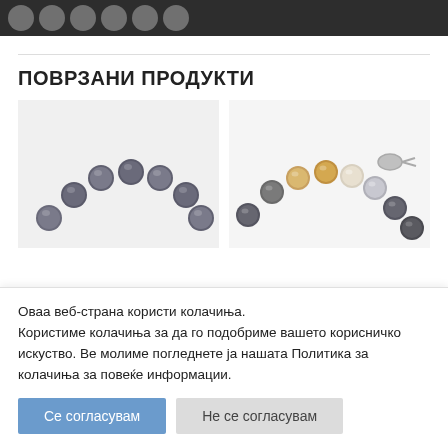[Social share icons bar]
ПОВРЗАНИ ПРОДУКТИ
[Figure (photo): Dark grey pearl bracelet arching over light grey background]
[Figure (photo): Multi-colored pearl bracelet with silver clasp on white background]
Оваа веб-страна користи колачиња. Користиме колачиња за да го подобриме вашето корисничко искуство. Ве молиме погледнете ја нашата Политика за колачиња за повеќе информации.
Се согласувам
Не се согласувам